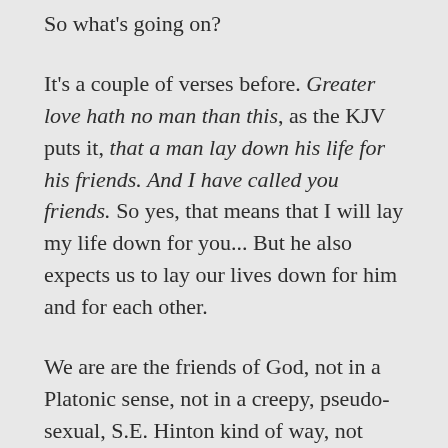So what's going on?
It's a couple of verses before. Greater love hath no man than this, as the KJV puts it, that a man lay down his life for his friends. And I have called you friends. So yes, that means that I will lay my life down for you... But he also expects us to lay our lives down for him and for each other.
We are are the friends of God, not in a Platonic sense, not in a creepy, pseudo-sexual, S.E. Hinton kind of way, not even